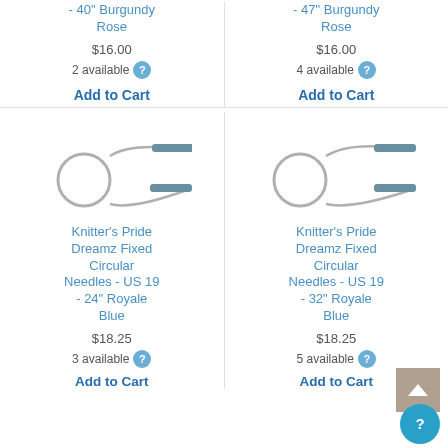- 40" Burgundy Rose
- 47" Burgundy Rose
$16.00
2 available
$16.00
4 available
Add to Cart
Add to Cart
[Figure (photo): Knitting needle circular 24 inch]
[Figure (photo): Knitting needle circular 32 inch]
Knitter's Pride Dreamz Fixed Circular Needles - US 19 - 24" Royale Blue
Knitter's Pride Dreamz Fixed Circular Needles - US 19 - 32" Royale Blue
$18.25
3 available
$18.25
5 available
Add to Cart
Add to Cart